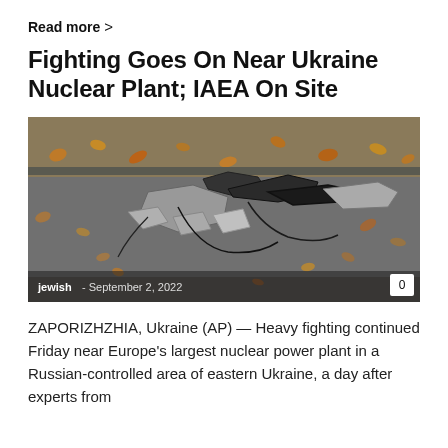Read more >
Fighting Goes On Near Ukraine Nuclear Plant; IAEA On Site
[Figure (photo): Wreckage of a downed drone or missile scattered on pavement with autumn leaves, captioned 'jewish - September 2, 2022' with a comment count of 0]
ZAPORIZHZHIA, Ukraine (AP) — Heavy fighting continued Friday near Europe's largest nuclear power plant in a Russian-controlled area of eastern Ukraine, a day after experts from